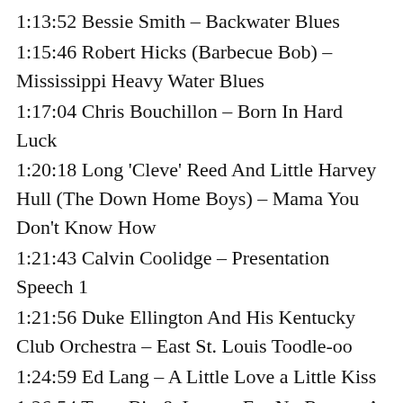1:13:52 Bessie Smith – Backwater Blues
1:15:46 Robert Hicks (Barbecue Bob) – Mississippi Heavy Water Blues
1:17:04 Chris Bouchillon – Born In Hard Luck
1:20:18 Long 'Cleve' Reed And Little Harvey Hull (The Down Home Boys) – Mama You Don't Know How
1:21:43 Calvin Coolidge – Presentation Speech 1
1:21:56 Duke Ellington And His Kentucky Club Orchestra – East St. Louis Toodle-oo
1:24:59 Ed Lang – A Little Love a Little Kiss
1:26:54 Tram Bix & Lang – For No Reason At All In C
1:29:13 Calvin Coolidge – Presentation Speech 2
1:29:39 Louis Armstrong and His Hot Seven –